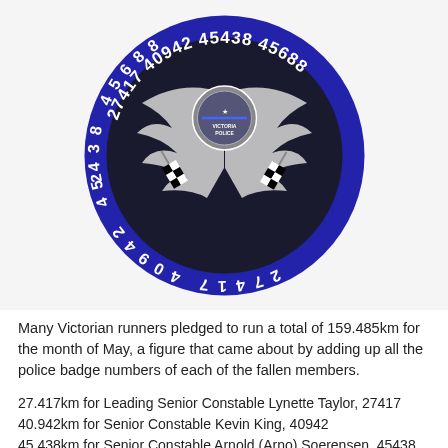[Figure (illustration): Circular police memorial badge with dark background and blue border ring. Features Victoria Police shield/badge with wings and checkered flags crossed beneath. Badge numbers 27417, 40942, 45438, 45688 arranged around the bottom of the blue ring in white text.]
Many Victorian runners pledged to run a total of 159.485km for the month of May, a figure that came about by adding up all the police badge numbers of each of the fallen members.
27.417km for Leading Senior Constable Lynette Taylor, 27417
40.942km for Senior Constable Kevin King, 40942
45.438km for Senior Constable Arnold (Arno) Soerensen, 45438